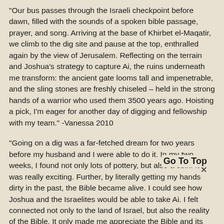"Our bus passes through the Israeli checkpoint before dawn, filled with the sounds of a spoken bible passage, prayer, and song. Arriving at the base of Khirbet el-Maqatir, we climb to the dig site and pause at the top, enthralled again by the view of Jerusalem. Reflecting on the terrain and Joshua's strategy to capture Ai, the ruins underneath me transform: the ancient gate looms tall and impenetrable, and the sling stones are freshly chiseled – held in the strong hands of a warrior who used them 3500 years ago. Hoisting a pick, I'm eager for another day of digging and fellowship with my team." -Vanessa 2010
"Going on a dig was a far-fetched dream for two years before my husband and I were able to do it. In my two weeks, I found not only lots of pottery, but also a coin! It was really exciting. Further, by literally getting my hands dirty in the past, the Bible became alive. I could see how Joshua and the Israelites would be able to take Ai. I felt connected not only to the land of Israel, but also the reality of the Bible. It only made me appreciate the Bible and its reliability more and more." -Christine 2010
"This was my second dig at Khirbet el Maqatir and I was